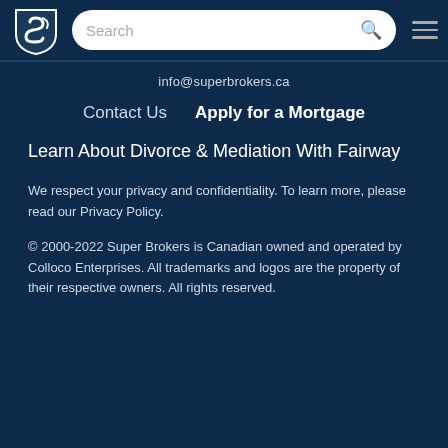[Figure (logo): Super Brokers shield logo in white and navy]
Search  [menu icon]
info@superbrokers.ca
Contact Us    Apply for a Mortgage
Learn About Divorce & Mediation With Fairway
We respect your privacy and confidentiality. To learn more, please read our Privacy Policy.
© 2000-2022 Super Brokers is Canadian owned and operated by Colloco Enterprises. All trademarks and logos are the property of their respective owners. All rights reserved.